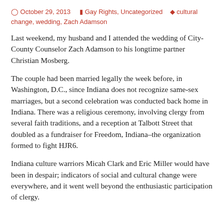October 29, 2013   Gay Rights, Uncategorized   cultural change, wedding, Zach Adamson
Last weekend, my husband and I attended the wedding of City-County Counselor Zach Adamson to his longtime partner Christian Mosberg.
The couple had been married legally the week before, in Washington, D.C., since Indiana does not recognize same-sex marriages, but a second celebration was conducted back home in Indiana. There was a religious ceremony, involving clergy from several faith traditions, and a reception at Talbott Street that doubled as a fundraiser for Freedom, Indiana–the organization formed to fight HJR6.
Indiana culture warriors Micah Clark and Eric Miller would have been in despair; indicators of social and cultural change were everywhere, and it went well beyond the enthusiastic participation of clergy.